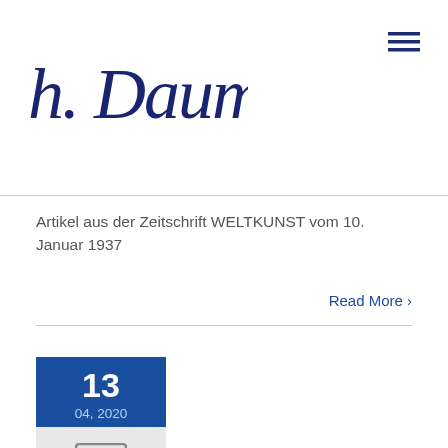[Figure (logo): Handwritten signature logo reading 'h. Daumier.' in dark navy blue script]
Artikel aus der Zeitschrift WELTKUNST vom 10. Januar 1937
Read More >
[Figure (infographic): Date block showing day 13 in white bold text on dark blue background, with 04, 2020 below in lighter blue text. Below the date block is a light grey box containing an image icon.]